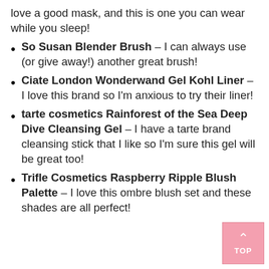love a good mask, and this is one you can wear while you sleep!
So Susan Blender Brush – I can always use (or give away!) another great brush!
Ciate London Wonderwand Gel Kohl Liner – I love this brand so I'm anxious to try their liner!
tarte cosmetics Rainforest of the Sea Deep Dive Cleansing Gel – I have a tarte brand cleansing stick that I like so I'm sure this gel will be great too!
Trifle Cosmetics Raspberry Ripple Blush Palette – I love this ombre blush set and these shades are all perfect!